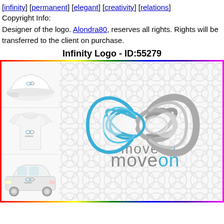[infinity] [permanent] [elegant] [creativity] [relations]
Copyright Info:
Designer of the logo. Alondra80, reserves all rights. Rights will be transferred to the client on purchase.
Infinity Logo - ID:55279
[Figure (illustration): Logo presentation mockup showing the 'moveon' infinity logo on a hat, t-shirt, and car (left column), alongside the main logo design featuring intertwined infinity circles in blue and grey with 'moveon' text, set against a white background with a repeating circular pattern. The whole image has a rainbow/gradient border.]